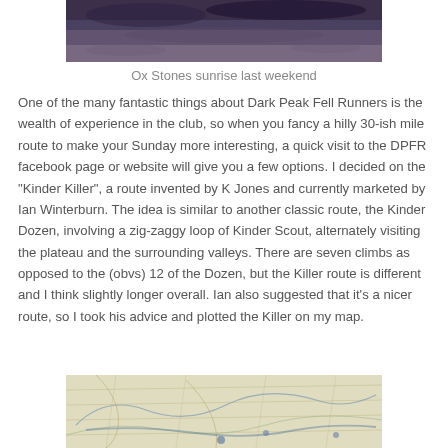[Figure (photo): Aerial or landscape photo of Ox Stones at sunrise, showing dark rocky terrain with purplish sky tones, cropped at the top of the page]
Ox Stones sunrise last weekend
One of the many fantastic things about Dark Peak Fell Runners is the wealth of experience in the club, so when you fancy a hilly 30-ish mile route to make your Sunday more interesting, a quick visit to the DPFR facebook page or website will give you a few options. I decided on the "Kinder Killer", a route invented by K Jones and currently marketed by Ian Winterburn. The idea is similar to another classic route, the Kinder Dozen, involving a zig-zaggy loop of Kinder Scout, alternately visiting the plateau and the surrounding valleys. There are seven climbs as opposed to the (obvs) 12 of the Dozen, but the Killer route is different and I think slightly longer overall. Ian also suggested that it's a nicer route, so I took his advice and plotted the Killer on my map.
[Figure (map): Topographic map showing the Kinder Scout area with route plotted, showing terrain contours and surrounding landscape]